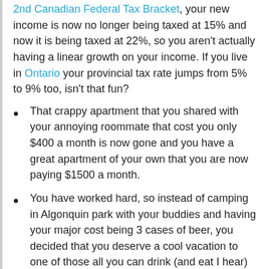2nd Canadian Federal Tax Bracket, your new income is now no longer being taxed at 15% and now it is being taxed at 22%, so you aren't actually having a linear growth on your income. If you live in Ontario your provincial tax rate jumps from 5% to 9% too, isn't that fun?
That crappy apartment that you shared with your annoying roommate that cost you only $400 a month is now gone and you have a great apartment of your own that you are now paying $1500 a month.
You have worked hard, so instead of camping in Algonquin park with your buddies and having your major cost being 3 cases of beer, you decided that you deserve a cool vacation to one of those all you can drink (and eat I hear) in Cuba, and it only cost $900 with the air fare.
That death trap of a car that you drove into the ground at school, that you did most of your own service on is gone, and you are now leasing a